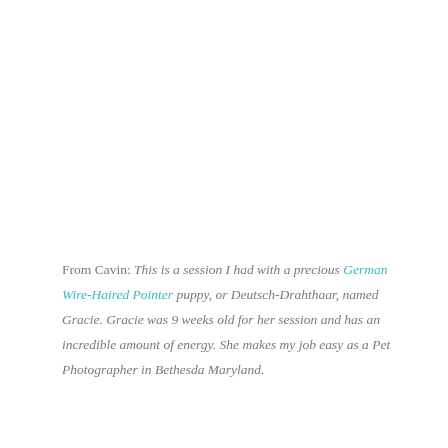From Cavin:  This is a session I had with a precious German Wire-Haired Pointer puppy, or Deutsch-Drahthaar, named Gracie.  Gracie was 9 weeks old for her session and has an incredible amount of energy.  She makes my job easy as a Pet Photographer in Bethesda Maryland.